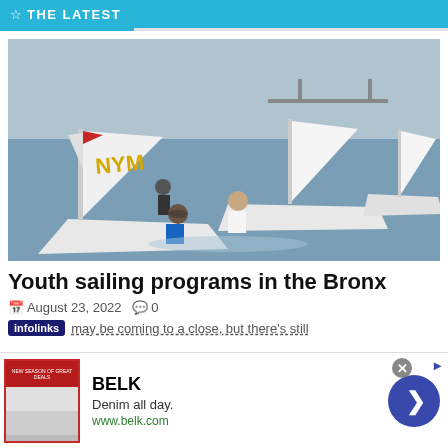THE LATEST
[Figure (photo): Youth sailing on water, multiple sailboats visible, two young people in foreground on a small sailboat with NYM lettering on the sail, bridge visible in background]
Youth sailing programs in the Bronx
August 23, 2022  0
infolinks  may be coming to a close, but there's still
[Figure (screenshot): Advertisement for BELK - Denim all day. www.belk.com, showing clothing images on left and a forward arrow button on right]